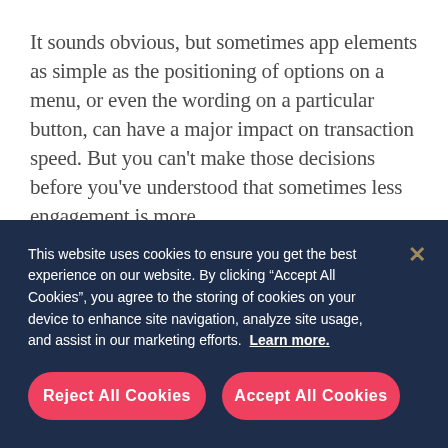It sounds obvious, but sometimes app elements as simple as the positioning of options on a menu, or even the wording on a particular button, can have a major impact on transaction speed. But you can't make those decisions before you've understood that sometimes less engagement is more.
tl;dr - longer isn't always better. This is also the case for blog posts.
This website uses cookies to ensure you get the best experience on our website. By clicking "Accept All Cookies", you agree to the storing of cookies on your device to enhance site navigation, analyze site usage, and assist in our marketing efforts. Learn more.